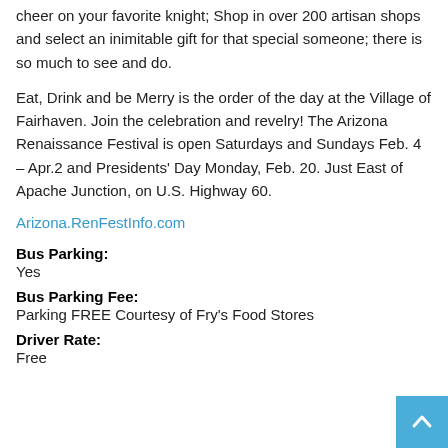cheer on your favorite knight; Shop in over 200 artisan shops and select an inimitable gift for that special someone; there is so much to see and do.
Eat, Drink and be Merry is the order of the day at the Village of Fairhaven. Join the celebration and revelry! The Arizona Renaissance Festival is open Saturdays and Sundays Feb. 4 – Apr.2 and Presidents' Day Monday, Feb. 20. Just East of Apache Junction, on U.S. Highway 60.
Arizona.RenFestInfo.com
Bus Parking:
Yes
Bus Parking Fee:
Parking FREE Courtesy of Fry's Food Stores
Driver Rate:
Free